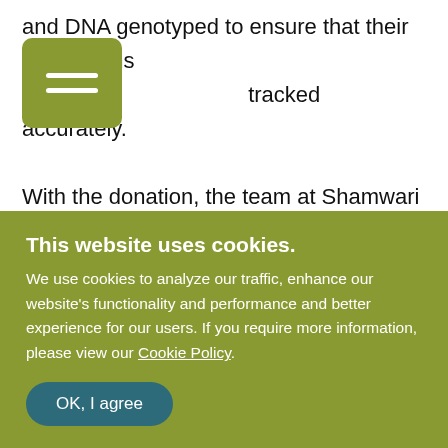and DNA genotyped to ensure that their populations are tracked accurately.
[Figure (other): Olive/khaki colored square menu icon with two horizontal white lines]
With the donation, the team at Shamwari will be able to continue to care for the orphaned rhinos in their Animal Rehabilitation Centre. This includes the construction of a new rhino boma which staff from Lion World Travel pitched in to help build during our
This website uses cookies. We use cookies to analyze our traffic, enhance our website's functionality and performance and better experience for our users. If you require more information, please view our Cookie Policy.
OK, I agree